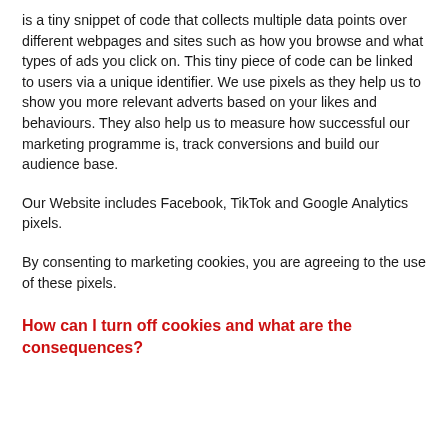is a tiny snippet of code that collects multiple data points over different webpages and sites such as how you browse and what types of ads you click on. This tiny piece of code can be linked to users via a unique identifier. We use pixels as they help us to show you more relevant adverts based on your likes and behaviours. They also help us to measure how successful our marketing programme is, track conversions and build our audience base.
Our Website includes Facebook, TikTok and Google Analytics pixels.
By consenting to marketing cookies, you are agreeing to the use of these pixels.
How can I turn off cookies and what are the consequences?